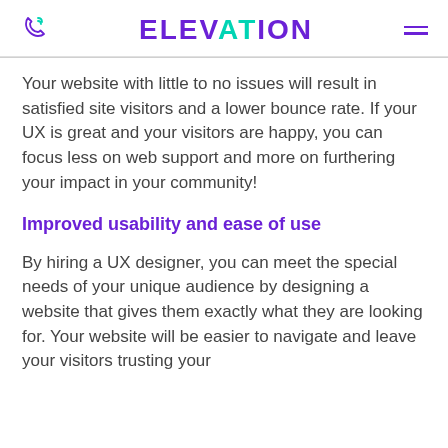ELEVATION
Your website with little to no issues will result in satisfied site visitors and a lower bounce rate. If your UX is great and your visitors are happy, you can focus less on web support and more on furthering your impact in your community!
Improved usability and ease of use
By hiring a UX designer, you can meet the special needs of your unique audience by designing a website that gives them exactly what they are looking for. Your website will be easier to navigate and leave your visitors trusting your